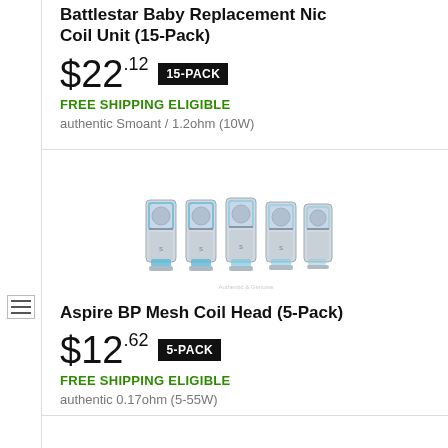Battlestar Baby Replacement Nickel Coil Unit (15-Pack)
$22.12  15-PACK
FREE SHIPPING ELIGIBLE
authentic Smoant / 1.2ohm (10W)
[Figure (photo): Five silver/blue cylindrical vape coil heads side by side]
Aspire BP Mesh Coil Head (5-Pack)
$12.62  5-PACK
FREE SHIPPING ELIGIBLE
authentic 0.17ohm (5-55W)